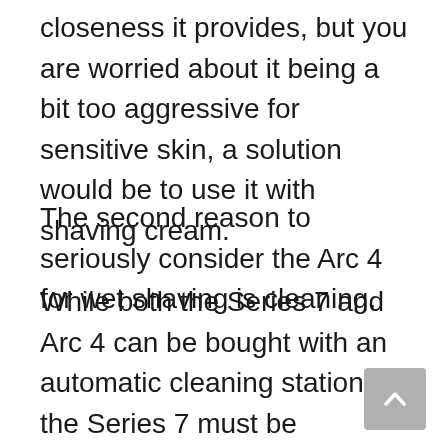closeness it provides, but you are worried about it being a bit too aggressive for sensitive skin, a solution would be to use it with shaving cream.
The second reason to seriously consider the Arc 4 for wet shaving is cleaning.
While both the Series 7 and Arc 4 can be bought with an automatic cleaning station, the Series 7 must be completely dry and free of any foam residues before using the cleaning station.